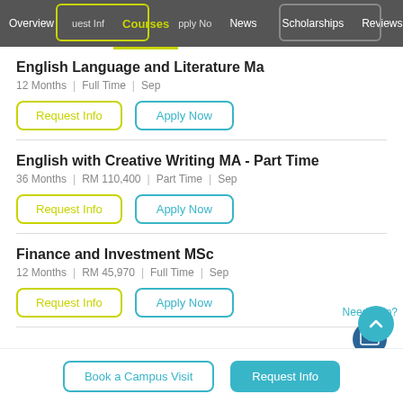Overview | Request Info | Courses | Apply Now | News | Scholarships | Reviews
English Language and Literature Ma
12 Months | Full Time | Sep
Request Info  Apply Now
English with Creative Writing MA - Part Time
36 Months | RM 110,400 | Part Time | Sep
Request Info  Apply Now
Finance and Investment MSc
12 Months | RM 45,970 | Full Time | Sep
Request Info  Apply Now
Need help?
Book a Campus Visit  |  Request Info